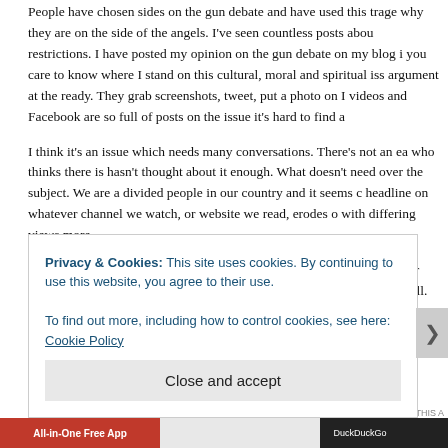People have chosen sides on the gun debate and have used this trage why they are on the side of the angels. I've seen countless posts abou restrictions. I have posted my opinion on the gun debate on my blog i you care to know where I stand on this cultural, moral and spiritual iss argument at the ready. They grab screenshots, tweet, put a photo on I videos and Facebook are so full of posts on the issue it's hard to find a
I think it's an issue which needs many conversations. There's not an ea who thinks there is hasn't thought about it enough. What doesn't need over the subject. We are a divided people in our country and it seems headline on whatever channel we watch, or website we read, erodes o with differing views more.
Whatever side we're on, opinion we possess, idea we espouse, we sh our neighbor.  If we can't then our voice is wasted, nothing changes an to hell.
Privacy & Cookies: This site uses cookies. By continuing to use this website, you agree to their use.
To find out more, including how to control cookies, see here: Cookie Policy
Close and accept